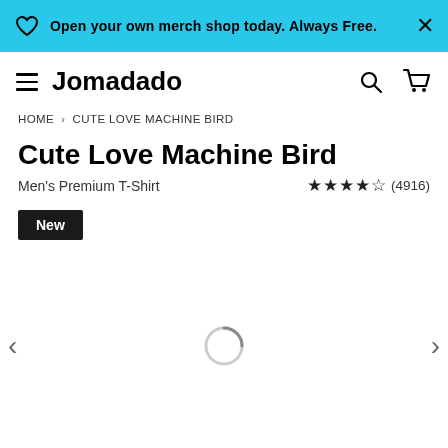Open your own merch shop today. Always Free.
Jomadado
HOME > CUTE LOVE MACHINE BIRD
Cute Love Machine Bird
Men's Premium T-Shirt
(4916)
New
[Figure (other): Loading spinner indicating product image is loading, with left and right navigation arrows]